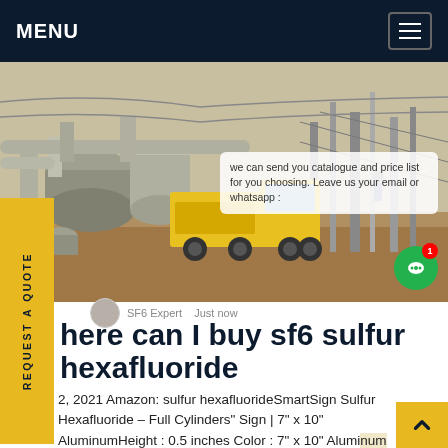MENU
[Figure (photo): Industrial facility photo showing yellow truck, large pipes and equipment at an electrical substation]
we can send you catalogue and price list for you choosing. Leave us your email or whatsapp :
SF6 Expert   Just now
here can I buy sf6 sulfur hexafluoride
2, 2021 Amazon: sulfur hexafluorideSmartSign Sulfur Hexafluoride - Full Cylinders" Sign | 7" x 10" AluminumHeight : 0.5 inches Color : 7" x 10" Aluminum Brand Name : SmartSignSmartSign "Sulfur Hexafluoride - Full Cylinders" Sign| 10" x 14"